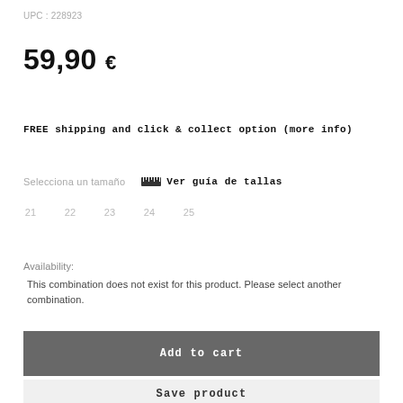UPC : 228923
59,90 €
FREE shipping and click & collect option (more info)
Selecciona un tamaño
Ver guía de tallas
21
22
23
24
25
Availability:
This combination does not exist for this product. Please select another combination.
Add to cart
Save product